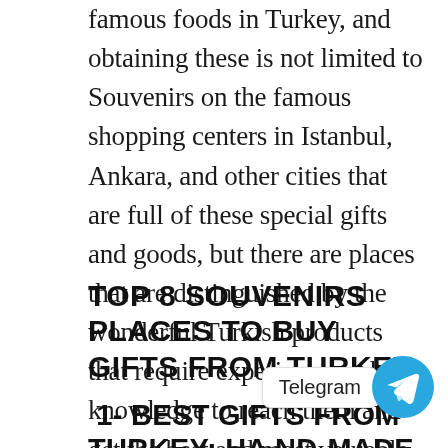famous foods in Turkey, and obtaining these is not limited to Souvenirs on the famous shopping centers in Istanbul, Ankara, and other cities that are full of these special gifts and goods, but there are places that are distinguished by the wonderful Turkish products that require experience and knowledge to reach them and get the best and most valuable souvenirs that cannot be found Except in Turkey,
TOP 8 SOUVENIRS PLACES TO BUY GIFTS FROM TURKEY:
1- BEST GIFTS FROM TURKEY: HA ND-MADE İZNİK TİLES